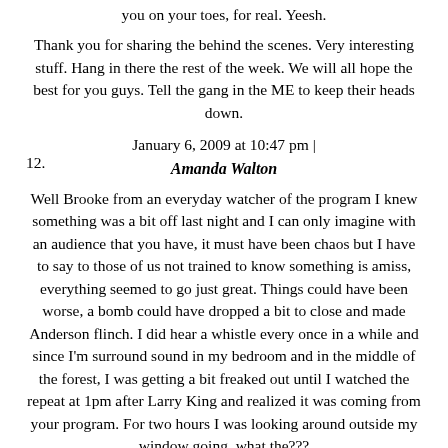you on your toes, for real. Yeesh.
Thank you for sharing the behind the scenes. Very interesting stuff. Hang in there the rest of the week. We will all hope the best for you guys. Tell the gang in the ME to keep their heads down.
January 6, 2009 at 10:47 pm |
12. Amanda Walton
Well Brooke from an everyday watcher of the program I knew something was a bit off last night and I can only imagine with an audience that you have, it must have been chaos but I have to say to those of us not trained to know something is amiss, everything seemed to go just great. Things could have been worse, a bomb could have dropped a bit to close and made Anderson flinch. I did hear a whistle every once in a while and since I'm surround sound in my bedroom and in the middle of the forest, I was getting a bit freaked out until I watched the repeat at 1pm after Larry King and realized it was coming from your program. For two hours I was looking around outside my window going, what the???
All's well that ends well.